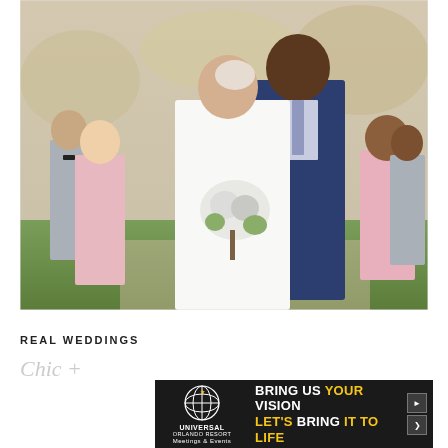[Figure (photo): Wedding photo showing a bride in a white strapless gown kissing a groom in a navy blue suit, with bridesmaids in pink dresses and groomsmen in grey suits in the background, outdoors on a sunny day. The bride holds a white floral bouquet.]
REAL WEDDINGS
Chic +
[Figure (infographic): Advertisement banner for Universal Orlando Resort Meetings & Events. Dark background with globe logo on the left. Text reads: BRING US YOUR VISION LET'S BRING IT TO LIFE. Forward navigation arrows on the right.]